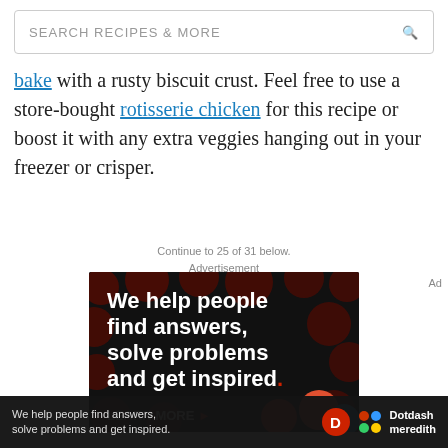SEARCH RECIPES & MORE
... with a rusty biscuit crust. Feel free to use a store-bought rotisserie chicken for this recipe or boost it with any extra veggies hanging out in your freezer or crisper.
Continue to 25 of 31 below.
Advertisement
[Figure (photo): Advertisement banner for Dotdash Meredith: black background with dark red polka dots, white bold text reading 'We help people find answers, solve problems and get inspired.' with a red period, and 'LEARN MORE' with a red arrow at the bottom.]
[Figure (photo): Bottom sticky ad bar: dark background with white text 'We help people find answers, solve problems and get inspired.' alongside Dotdash 'D' logo in red circle, colorful dots logo, and 'Dotdash meredith' brand name in white.]